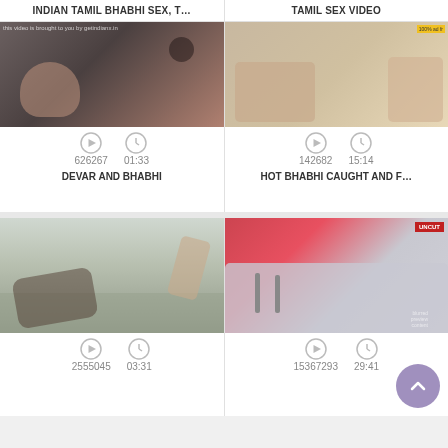INDIAN TAMIL BHABHI SEX, T...
TAMIL SEX VIDEO
[Figure (photo): Video thumbnail showing intimate scene]
[Figure (photo): Video thumbnail showing intimate scene]
626267   01:33
142682   15:14
DEVAR AND BHABHI
HOT BHABHI CAUGHT AND F...
[Figure (photo): Video thumbnail showing intimate scene]
[Figure (photo): Video thumbnail showing intimate scene]
2555045   03:31
15367293   29:41